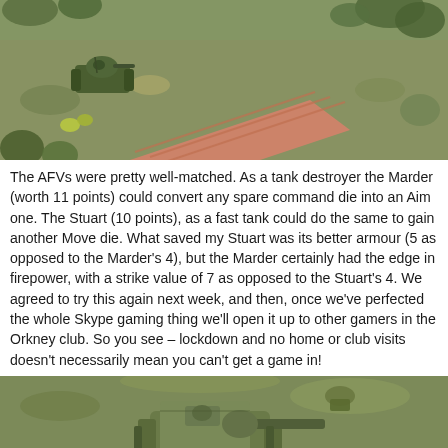[Figure (photo): Aerial view of a miniature wargame battlefield showing a green Stuart tank model on sandy/green terrain with a red-striped roof structure visible in the lower portion, surrounded by model trees and bushes.]
The AFVs were pretty well-matched. As a tank destroyer the Marder (worth 11 points) could convert any spare command die into an Aim one. The Stuart (10 points), as a fast tank could do the same to gain another Move die. What saved my Stuart was its better armour (5 as opposed to the Marder's 4), but the Marder certainly had the edge in firepower, with a strike value of 7 as opposed to the Stuart's 4. We agreed to try this again next week, and then, once we've perfected the whole Skype gaming thing we'll open it up to other gamers in the Orkney club. So you see – lockdown and no home or club visits doesn't necessarily mean you can't get a game in!
[Figure (photo): Close-up photo of a miniature wargame vehicle model, appearing to be a tank destroyer or anti-tank gun, viewed from above/front angle on a green battlefield surface, with another miniature figure visible in the background.]